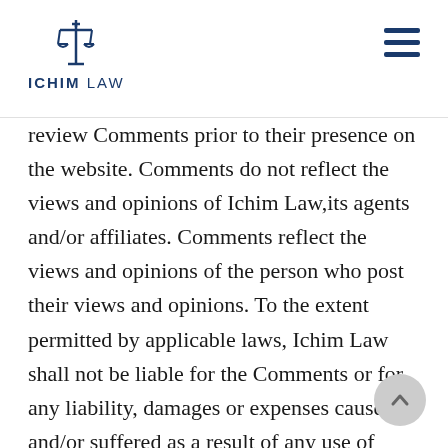ICHIM LAW
review Comments prior to their presence on the website. Comments do not reflect the views and opinions of Ichim Law,its agents and/or affiliates. Comments reflect the views and opinions of the person who post their views and opinions. To the extent permitted by applicable laws, Ichim Law shall not be liable for the Comments or for any liability, damages or expenses caused and/or suffered as a result of any use of and/or posting of and/or appearance of the Comments on this website.